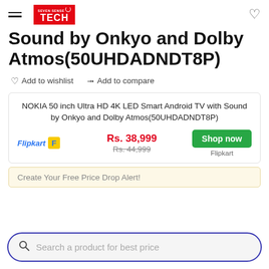Seven Sense TECH
Sound by Onkyo and Dolby Atmos(50UHDADNDT8P)
Add to wishlist
Add to compare
NOKIA 50 inch Ultra HD 4K LED Smart Android TV with Sound by Onkyo and Dolby Atmos(50UHDADNDT8P)
Flipkart Rs. 38,999 Rs. 44,999 Shop now Flipkart
Create Your Free Price Drop Alert!
Search a product for best price